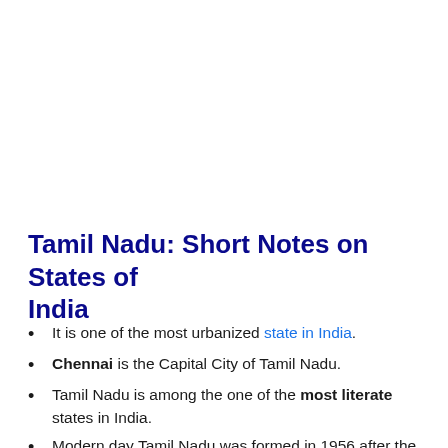Tamil Nadu: Short Notes on States of India
It is one of the most urbanized state in India.
Chennai is the Capital City of Tamil Nadu.
Tamil Nadu is among the one of the most literate states in India.
Modern day Tamil Nadu was formed in 1956 after the reorganisation of states on linguistic lines.